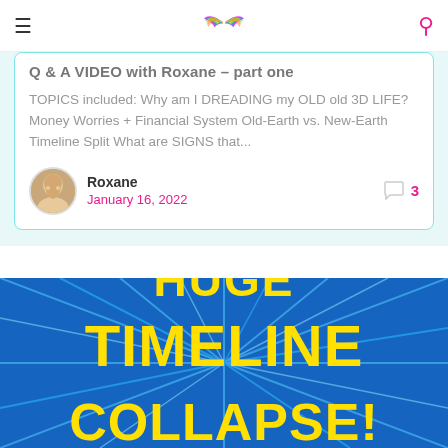Navigation bar with hamburger menu, rainbow wings logo, search icon
Q & A VIDEO with Roxane – part one
TOPICS included: Why am I DREADING my OLD old 3D LIFE? Money Worries + Financial System Old-Earth vs. New-Earth Timeline Split What are SIGNS that...
Roxane
January 16, 2022
[comment icon] 3
[Figure (illustration): Blue starburst background with large yellow bold text reading 'HUGE TIMELINE COLLAPSE!' partially visible, cut off at bottom of page]